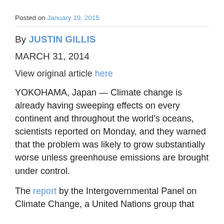Posted on January 19, 2015
By JUSTIN GILLIS
MARCH 31, 2014
View original article here
YOKOHAMA, Japan — Climate change is already having sweeping effects on every continent and throughout the world's oceans, scientists reported on Monday, and they warned that the problem was likely to grow substantially worse unless greenhouse emissions are brought under control.
The report by the Intergovernmental Panel on Climate Change, a United Nations group that